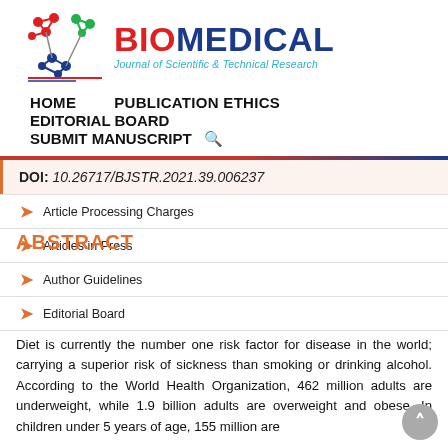[Figure (logo): Biomedical Journal of Scientific & Technical Research logo with molecular structure graphic in red, blue, and green, beside bold red and blue BIOMEDICAL text and cyan italic subtitle]
HOME   PUBLICATION ETHICS
EDITORIAL BOARD
SUBMIT MANUSCRIPT  🔍
DOI: 10.26717/BJSTR.2021.39.006237
Article Processing Charges
ABSTRACT
Articles in Press
Author Guidelines
Editorial Board
Diet is currently the number one risk factor for disease in the world; carrying a superior risk of sickness than smoking or drinking alcohol. According to the World Health Organization, 462 million adults are underweight, while 1.9 billion adults are overweight and obese. In children under 5 years of age, 155 million are